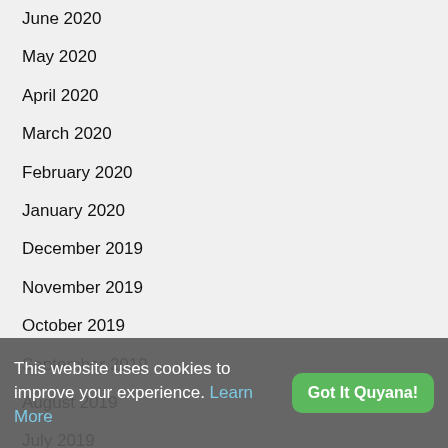June 2020
May 2020
April 2020
March 2020
February 2020
January 2020
December 2019
November 2019
October 2019
September 2019
August 2019
July 2019
June 2019
This website uses cookies to improve your experience. Learn More
Got It Quyana!